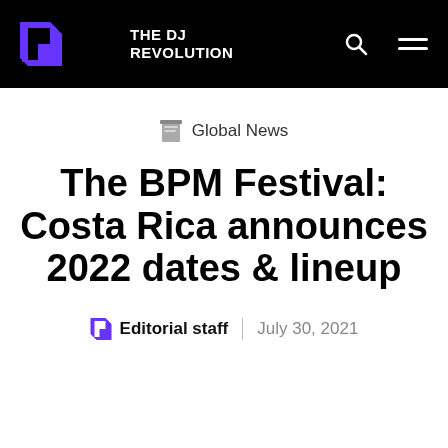THE DJ REVOLUTION
Global News
The BPM Festival: Costa Rica announces 2022 dates & lineup
Editorial staff | July 30, 2021